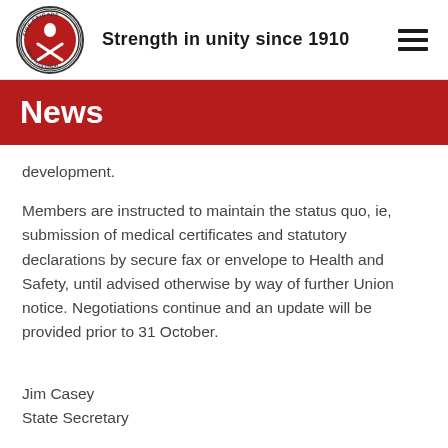Strength in unity since 1910
News
development.
Members are instructed to maintain the status quo, ie, submission of medical certificates and statutory declarations by secure fax or envelope to Health and Safety, until advised otherwise by way of further Union notice. Negotiations continue and an update will be provided prior to 31 October.
Jim Casey
State Secretary